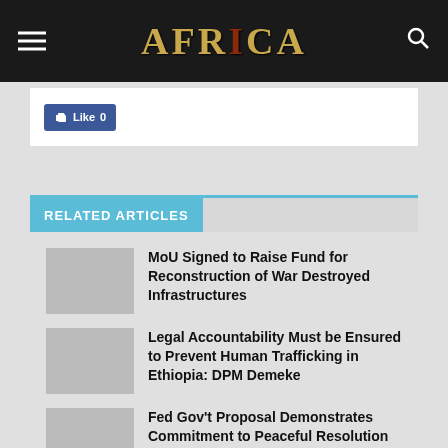AFRICA
[Figure (screenshot): Facebook Like button with count 0]
RELATED ARTICLES
MoU Signed to Raise Fund for Reconstruction of War Destroyed Infrastructures
Legal Accountability Must be Ensured to Prevent Human Trafficking in Ethiopia: DPM Demeke
Fed Gov't Proposal Demonstrates Commitment to Peaceful Resolution of Conflict in North: PMO